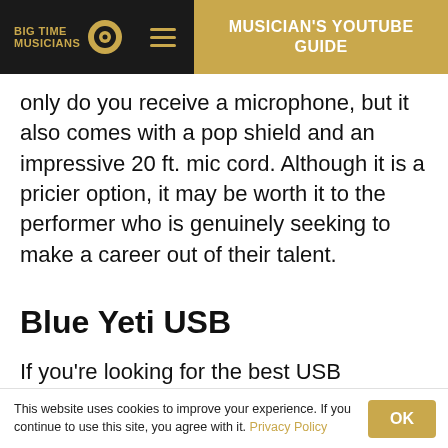BIG TIME MUSICIANS | MUSICIAN'S YOUTUBE GUIDE
only do you receive a microphone, but it also comes with a pop shield and an impressive 20 ft. mic cord. Although it is a pricier option, it may be worth it to the performer who is genuinely seeking to make a career out of their talent.
Blue Yeti USB
If you're looking for the best USB microphone for singing, this option from Yeti is one of the most impressive on the market. Compatible with both
This website uses cookies to improve your experience. If you continue to use this site, you agree with it. Privacy Policy